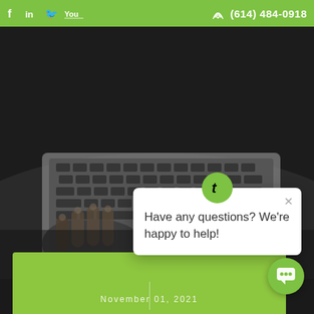f  in  🐦  You  |  📞 (614) 484-0918
[Figure (photo): Overhead view of person wearing fingerless gloves typing on a laptop keyboard against a dark background]
Have any questions? We're happy to help!
[Figure (screenshot): Green chat bubble button in bottom right corner]